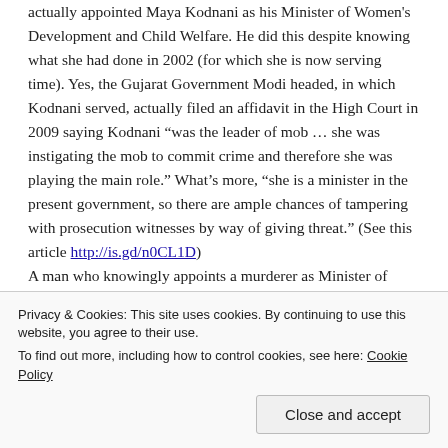actually appointed Maya Kodnani as his Minister of Women's Development and Child Welfare. He did this despite knowing what she had done in 2002 (for which she is now serving time). Yes, the Gujarat Government Modi headed, in which Kodnani served, actually filed an affidavit in the High Court in 2009 saying Kodnani “was the leader of mob … she was instigating the mob to commit crime and therefore she was playing the main role.” What’s more, “she is a minister in the present government, so there are ample chances of tampering with prosecution witnesses by way of giving threat.” (See this article http://is.gd/n0CL1D)
A man who knowingly appoints a murderer as Minister of Women’s Development and Child Welfare is not a man I want to
Privacy & Cookies: This site uses cookies. By continuing to use this website, you agree to their use.
To find out more, including how to control cookies, see here: Cookie Policy